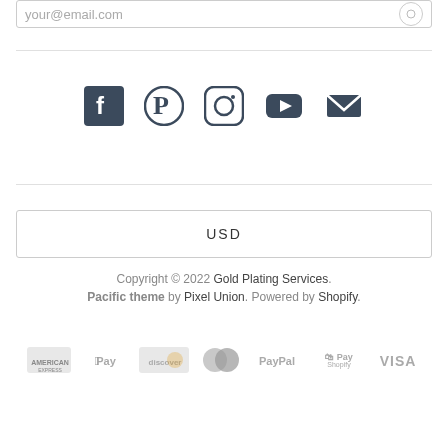your@email.com
[Figure (infographic): Social media icons: Facebook, Pinterest, Instagram, YouTube, Email]
USD
Copyright © 2022 Gold Plating Services. Pacific theme by Pixel Union. Powered by Shopify.
[Figure (infographic): Payment icons: American Express, Apple Pay, Discover, Mastercard, PayPal, Shopify Pay, Visa]